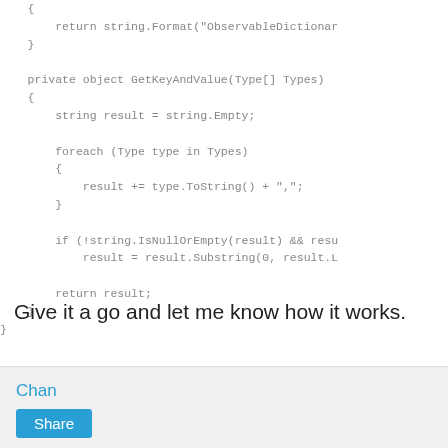{
        return string.Format("ObservableDictionar
    }

    private object GetKeyAndValue(Type[] Types)
    {
        string result = string.Empty;

        foreach (Type type in Types)
        {
            result += type.ToString() + ",";
        }

        if (!string.IsNullOrEmpty(result) && resu
            result = result.Substring(0, result.L

        return result;
    }
}
Give it a go and let me know how it works.
Chan
Share